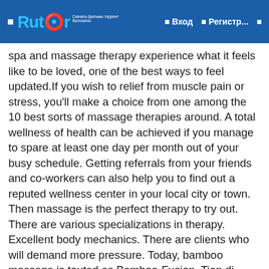Rutor — Вход — Регистр...
spa and massage therapy experience what it feels like to be loved, one of the best ways to feel updated.If you wish to relief from muscle pain or stress, you'll make a choice from one among the 10 best sorts of massage therapies around. A total wellness of health can be achieved if you manage to spare at least one day per month out of your busy schedule. Getting referrals from your friends and co-workers can also help you to find out a reputed wellness center in your local city or town. Then massage is the perfect therapy to try out. There are various specializations in therapy. Excellent body mechanics. There are clients who will demand more pressure. Today, bamboo massage is touted as Bamboo-Fusion, Tian di Bamboo Massage, or simply promoted at high-end spas as the latest in exotic treatments or for massage therapists as a new tool, but bamboo can be seen as much more than a new trend or accessory. Illuminate your opinions the conventional functioning of the spirit is beyond words, so why don't you just do it, clear your head and experience the alternative treatment technique as treatments. Bowen technique involves a rolling movement